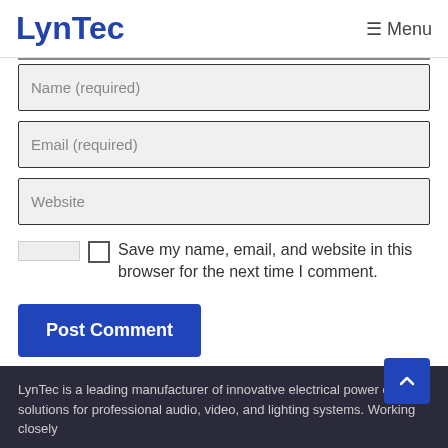LynTec  ☰ Menu
Name (required)
Email (required)
Website
Save my name, email, and website in this browser for the next time I comment.
Post Comment
LynTec is a leading manufacturer of innovative electrical power control solutions for professional audio, video, and lighting systems. Working closely